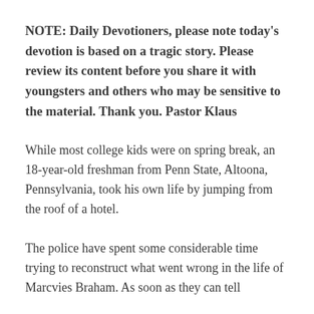NOTE: Daily Devotioners, please note today's devotion is based on a tragic story. Please review its content before you share it with youngsters and others who may be sensitive to the material. Thank you. Pastor Klaus
While most college kids were on spring break, an 18-year-old freshman from Penn State, Altoona, Pennsylvania, took his own life by jumping from the roof of a hotel.
The police have spent some considerable time trying to reconstruct what went wrong in the life of Marcvies Braham. As soon as they can tell